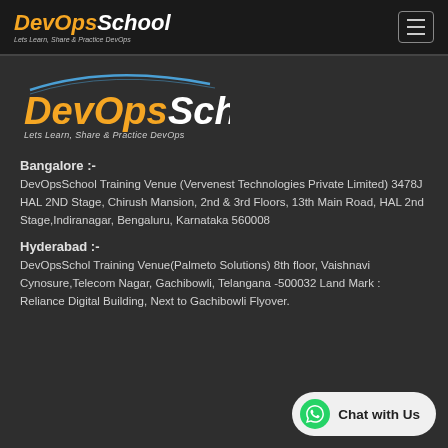DevOpsSchool — Lets Learn, Share & Practice DevOps (header logo + hamburger menu)
[Figure (logo): DevOpsSchool logo with arc design and tagline 'Lets Learn, Share & Practice DevOps']
Bangalore :-
DevOpsSchool Training Venue (Vervenest Technologies Private Limited) 3478J HAL 2ND Stage, Chirush Mansion, 2nd & 3rd Floors, 13th Main Road, HAL 2nd Stage,Indiranagar, Bengaluru, Karnataka 560008
Hyderabad :-
DevOpsSchol Training Venue(Palmeto Solutions) 8th floor, Vaishnavi Cynosure,Telecom Nagar, Gachibowli, Telangana -500032 Land Mark : Reliance Digital Building, Next to Gachibowli Flyover.